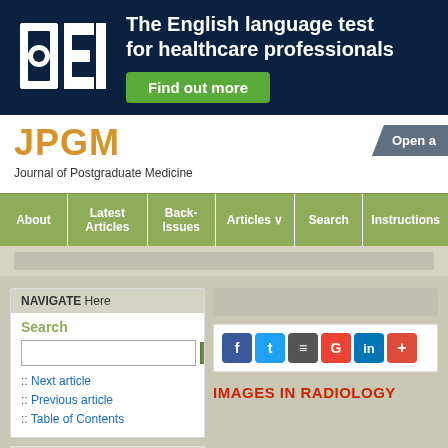[Figure (screenshot): OET banner advertisement - The English language test for healthcare professionals with Find out more button]
JPGM
Journal of Postgraduate Medicine
Open a
[Figure (screenshot): Navigation bar with menu items: About, Latest Articles, Back-Issues, Articles, Search, Instructions]
NAVIGATE Here
Search
:: Next article
:: Previous article
:: Table of Contents
RESOURCE Links
:: Similar in PUBMED
:: Search Pubmed for
Maheshwari P R
IMAGES IN RADIOLOGY